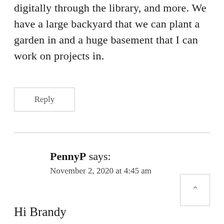digitally through the library, and more. We have a large backyard that we can plant a garden in and a huge basement that I can work on projects in.
Reply
PennyP says:
November 2, 2020 at 4:45 am
Hi Brandy